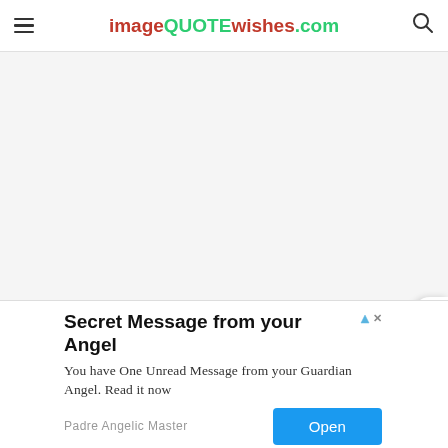imageQUOTEwishes.com
[Figure (screenshot): Main content area — white/light grey background, empty content region of the imageQUOTEwishes.com website]
[Figure (screenshot): Close (X) button overlay on right side of screen]
[Figure (screenshot): Advertisement banner: Secret Message from your Angel — You have One Unread Message from your Guardian Angel. Read it now — Padre Angelic Master — Open button]